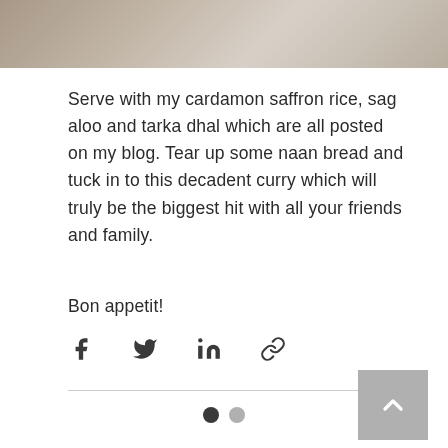[Figure (photo): Top portion of a food photo showing a dish wrapped in foil or with reflective surface, cropped at the top of the page]
Serve with my cardamon saffron rice, sag aloo and tarka dhal which are all posted on my blog. Tear up some naan bread and tuck in to this decadent curry which will truly be the biggest hit with all your friends and family.
Bon appetit!
[Figure (other): Social media share icons: Facebook, Twitter/X, LinkedIn, and link/copy icon]
[Figure (other): Back to top button - grey square with white upward chevron arrow]
[Figure (other): Pagination dots: one filled dark circle and one grey circle indicating page 1 of 2]